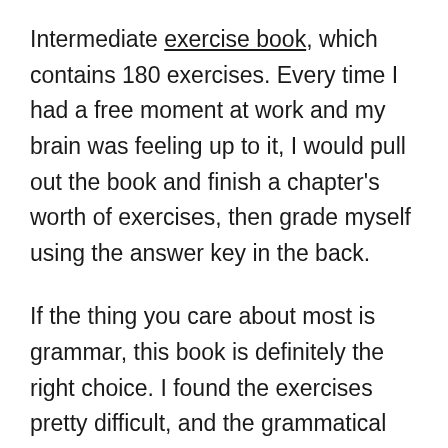Intermediate exercise book, which contains 180 exercises. Every time I had a free moment at work and my brain was feeling up to it, I would pull out the book and finish a chapter's worth of exercises, then grade myself using the answer key in the back.
If the thing you care about most is grammar, this book is definitely the right choice. I found the exercises pretty difficult, and the grammatical concepts were only lightly explained at the beginning of each chapter. However, I did learn a lot just by doing the exercises, and it's helped me strengthen my grasp on various verb tenses such